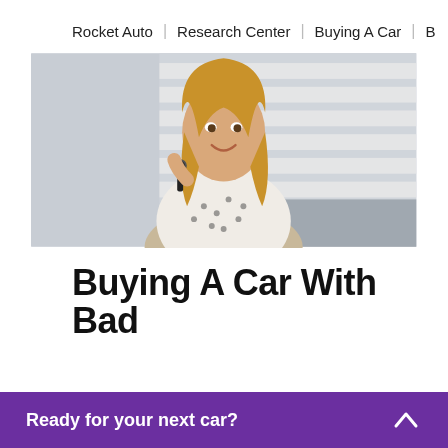Rocket Auto | Research Center | Buying A Car | B
[Figure (photo): Young woman with blonde hair smiling and holding car keys, standing in front of a car dealership building with horizontal slatted architecture]
Buying A Car With Bad
Ready for your next car?